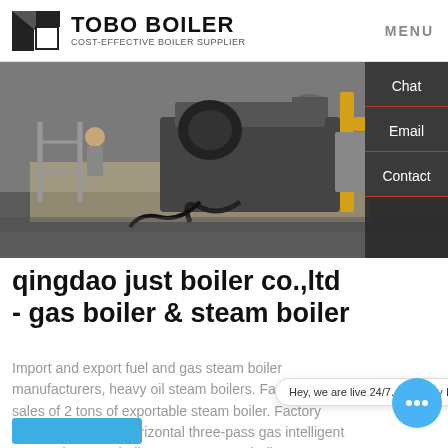TOBO BOILER COST-EFFECTIVE BOILER SUPPLIER | MENU
[Figure (photo): Industrial boiler equipment photographed in a factory or outdoor setting showing machinery with yellow pipes and hoses.]
qingdao just boiler co.,ltd - gas boiler & steam boiler
Import and export fuel and gas steam boiler manufacturers, heavy oil steam boilers. Factory direct sales of 2 tons of exportable steam boiler. Factory direct supply new horizontal three-pass gas intelligent automatic steam boiler water heating boiler. Condensing steam boilers, sincerely recruit agents, welcome